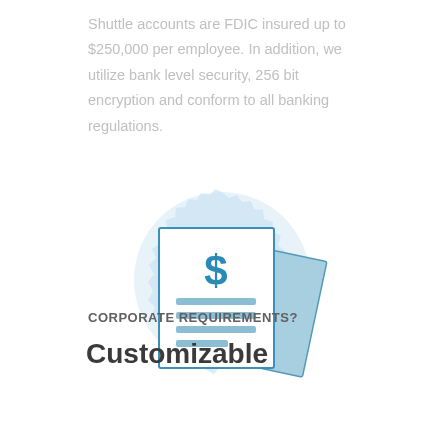Shuttle accounts are FDIC insured up to $250,000 per employee. In addition, we utilize bank level security, 256 bit encryption and conform to all banking regulations.
[Figure (illustration): Illustration of two overlapping documents/checks with a dollar sign icon on the front document, set against a light blue circular badge/seal background]
CORPORATE REQUIREMENTS?
Customizable